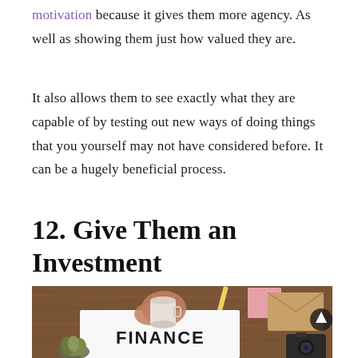motivation because it gives them more agency. As well as showing them just how valued they are.
It also allows them to see exactly what they are capable of by testing out new ways of doing things that you yourself may not have considered before. It can be a hugely beneficial process.
12. Give Them an Investment
[Figure (photo): Overhead photo of a wooden desk with hands holding a coffee cup, an open notebook with 'FINANCE' written on it, a pencil, pink sticky notes, brown envelopes, a small plant, and a camera in the corner. An upward arrow icon is visible on the right side.]